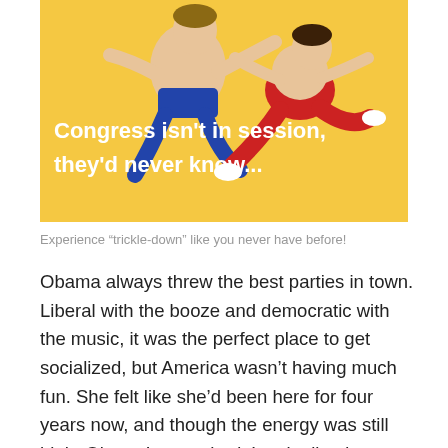[Figure (illustration): Political humor illustration on yellow background showing two cartoon figures in a wrestling/dancing pose — one in blue outfit and one in red outfit. White bold text overlay reads: 'Congress isn't in session, they'd never know...']
Experience “trickle-down” like you never have before!
Obama always threw the best parties in town. Liberal with the booze and democratic with the music, it was the perfect place to get socialized, but America wasn’t having much fun. She felt like she’d been here for four years now, and though the energy was still high, Obama’s party hadn’t quite lived up to expectations. It didn’t help that she had just come from G.W.’s party, and so threw up pretty early into the night, and Obama had to spend most of his time cleaning up the mess. GM got pretty sick too, and a lot of other people had go home early, even a couple guys who